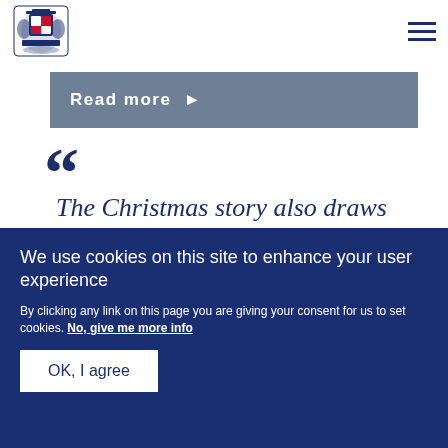[Figure (logo): UK Government Royal Coat of Arms logo in dark navy blue]
Read more ▶
““ The Christmas story also draws attention to all those people who are on...
We use cookies on this site to enhance your user experience
By clicking any link on this page you are giving your consent for us to set cookies. No, give me more info
OK, I agree